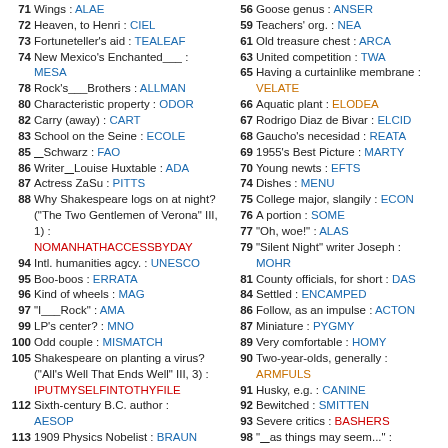71 Wings : ALAE
72 Heaven, to Henri : CIEL
73 Fortuneteller's aid : TEALEAF
74 New Mexico's Enchanted___ : MESA
78 Rock's___Brothers : ALLMAN
80 Characteristic property : ODOR
82 Carry (away) : CART
83 School on the Seine : ECOLE
85 ___Schwarz : FAO
86 Writer___Louise Huxtable : ADA
87 Actress ZaSu : PITTS
88 Why Shakespeare logs on at night? ("The Two Gentlemen of Verona" III, 1) : NOMANHATHACCESSBYDAY
94 Intl. humanities agcy. : UNESCO
95 Boo-boos : ERRATA
96 Kind of wheels : MAG
97 "I___Rock" : AMA
99 LP's center? : MNO
100 Odd couple : MISMATCH
105 Shakespeare on planting a virus? ("All's Well That Ends Well" III, 3) : IPUTMYSELFINTOTHYFILE
112 Sixth-century B.C. author : AESOP
113 1909 Physics Nobelist : BRAUN
114 Table d'___ : HOTE
115 One that gets a leg up? : IBIS
116 Ship to remember : MAINE
117 Springy : AGILE
118 ...
56 Goose genus : ANSER
59 Teachers' org. : NEA
61 Old treasure chest : ARCA
63 United competition : TWA
65 Having a curtainlike membrane : VELATE
66 Aquatic plant : ELODEA
67 Rodrigo Diaz de Bivar : ELCID
68 Gaucho's necesidad : REATA
69 1955's Best Picture : MARTY
70 Young newts : EFTS
74 Dishes : MENU
75 College major, slangily : ECON
76 A portion : SOME
77 "Oh, woe!" : ALAS
79 "Silent Night" writer Joseph : MOHR
81 County officials, for short : DAS
84 Settled : ENCAMPED
86 Follow, as an impulse : ACTON
87 Miniature : PYGMY
89 Very comfortable : HOMY
90 Two-year-olds, generally : ARMFULS
91 Husky, e.g. : CANINE
92 Bewitched : SMITTEN
93 Severe critics : BASHERS
98 "___as things may seem..." : ASBAD
100 Bucolic bugler : MOOSE
101 Lit : AFIRE
102 Shinbone : TIBIA